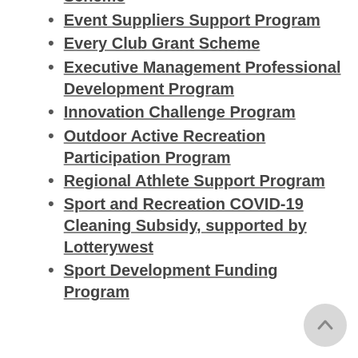Scheme
Event Suppliers Support Program
Every Club Grant Scheme
Executive Management Professional Development Program
Innovation Challenge Program
Outdoor Active Recreation Participation Program
Regional Athlete Support Program
Sport and Recreation COVID-19 Cleaning Subsidy, supported by Lotterywest
Sport Development Funding Program